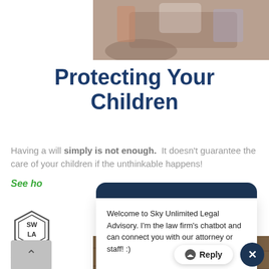[Figure (photo): Partial photo of people near a motorcycle, cropped at top]
Protecting Your Children
Having a will simply is not enough. It doesn't guarantee the care of your children if the unthinkable happens!
See ho
Welcome to Sky Unlimited Legal Advisory. I'm the law firm's chatbot and can connect you with our attorney or staff! :)

First, what brings you our way today?
[Figure (logo): SWLA hexagonal logo with 'online' green badge]
[Figure (photo): Bottom photo showing paper family figures and a SAVE jar on wooden surface]
Reply
✕